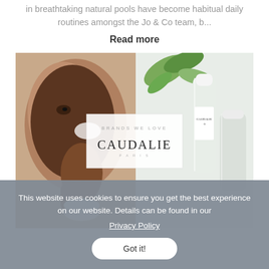in breathtaking natural pools have become habitual daily routines amongst the Jo & Co team, b...
Read more
[Figure (photo): A banner image showing a woman applying skincare cream on her face on the left side, green leaves and Caudalie skincare bottles on the right side, with a white overlay box in the center showing 'BRANDS WE LOVE' and the Caudalie Paris logo.]
This website uses cookies to ensure you get the best experience on our website. Details can be found in our Privacy Policy
Got it!